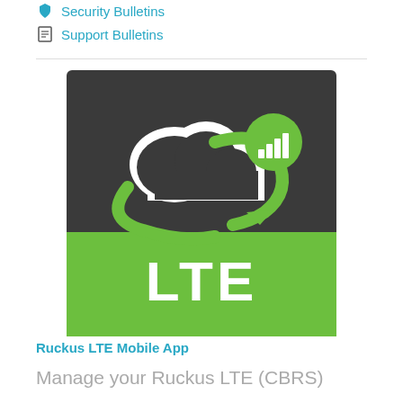Security Bulletins
Support Bulletins
[Figure (logo): Ruckus LTE Mobile App logo — dark grey square upper half with white cloud icon and green orbital arrow, green circle with white signal bars in top right; bright green lower half with white bold LTE text]
Ruckus LTE Mobile App
Manage your Ruckus LTE (CBRS)